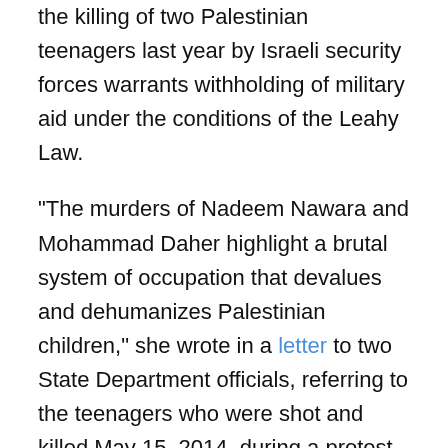the killing of two Palestinian teenagers last year by Israeli security forces warrants withholding of military aid under the conditions of the Leahy Law.
“The murders of Nadeem Nawara and Mohammad Daher highlight a brutal system of occupation that devalues and dehumanizes Palestinian children,” she wrote in a letter to two State Department officials, referring to the teenagers who were shot and killed May 15, 2014, during a protest at the Ofer prison in the West Bank. “It is time for a strong and unequivocal statement of U.S. commitment to the human rights of Palestinian children living under Israeli occupation,” McCollum continued in the letter, which was publicly released on Monday.
The protests were part of the annual remembrance of